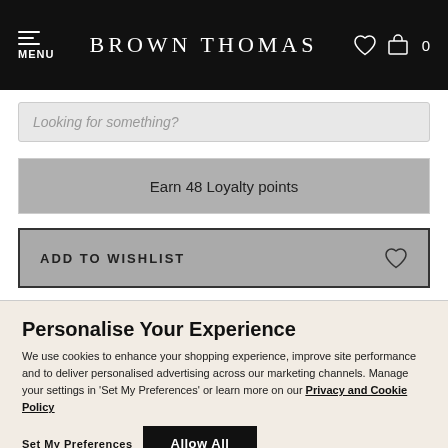MENU  BROWN THOMAS  0
Looking for something?
Earn 48 Loyalty points
ADD TO WISHLIST
Personalise Your Experience
We use cookies to enhance your shopping experience, improve site performance and to deliver personalised advertising across our marketing channels. Manage your settings in 'Set My Preferences' or learn more on our Privacy and Cookie Policy
Set My Preferences   Allow All